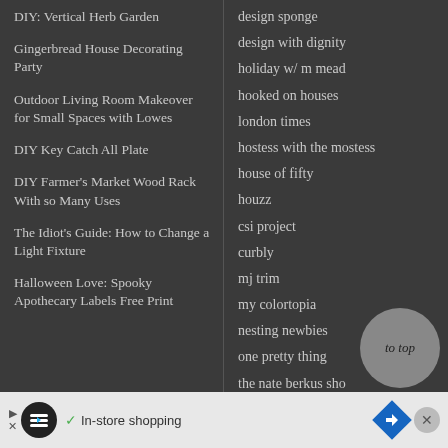DIY: Vertical Herb Garden
Gingerbread House Decorating Party
Outdoor Living Room Makeover for Small Spaces with Lowes
DIY Key Catch All Plate
DIY Farmer's Market Wood Rack With so Many Uses
The Idiot's Guide: How to Change a Light Fixture
Halloween Love: Spooky Apothecary Labels Free Print
apartment therapy
design sponge
design with dignity
holiday w/ m mead
hooked on houses
london times
hostess with the mostess
house of fifty
houzz
csi project
curbly
mj trim
my colortopia
nesting newbies
one pretty thing
the nate berkus show
to top
In-store shopping